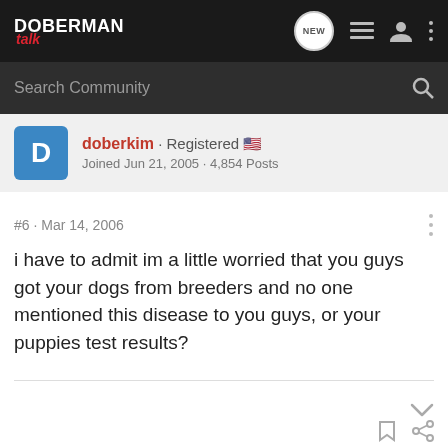DOBERMAN talk
doberkim · Registered
Joined Jun 21, 2005 · 4,854 Posts
#6 · Mar 14, 2006
i have to admit im a little worried that you guys got your dogs from breeders and no one mentioned this disease to you guys, or your puppies test results?